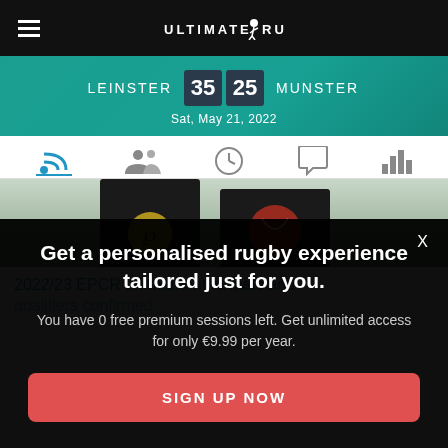Ultimate Rugby
LEINSTER 35 25 MUNSTER — Sat, May 21, 2022
[Figure (screenshot): Navigation tab bar with feed, people, clock, chat, and chart icons]
[Figure (photo): Two dark trophies on a green grass background]
2022/23 EPCR tournament formats and qualifiers confirmed
Get a personalised rugby experience tailored just for you.
You have 0 free premium sessions left. Get unlimited access for only €9.99 per year.
SIGN UP NOW